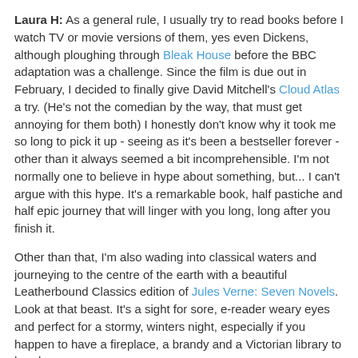Laura H: As a general rule, I usually try to read books before I watch TV or movie versions of them, yes even Dickens, although ploughing through Bleak House before the BBC adaptation was a challenge. Since the film is due out in February, I decided to finally give David Mitchell's Cloud Atlas a try. (He's not the comedian by the way, that must get annoying for them both) I honestly don't know why it took me so long to pick it up - seeing as it's been a bestseller forever - other than it always seemed a bit incomprehensible. I'm not normally one to believe in hype about something, but... I can't argue with this hype. It's a remarkable book, half pastiche and half epic journey that will linger with you long, long after you finish it.
Other than that, I'm also wading into classical waters and journeying to the centre of the earth with a beautiful Leatherbound Classics edition of Jules Verne: Seven Novels. Look at that beast. It's a sight for sore, e-reader weary eyes and perfect for a stormy, winters night, especially if you happen to have a fireplace, a brandy and a Victorian library to hand.